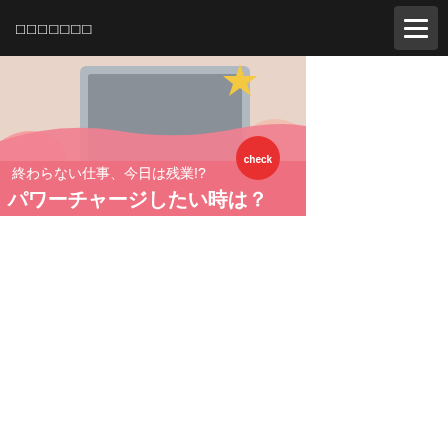□□□□□□□
[Figure (illustration): Promotional banner image showing a person working at a laptop with pink overlay background and Japanese text reading '終わらない仕事、今日は残業!? パワーチャージしたい時は？' with a 'check' badge]